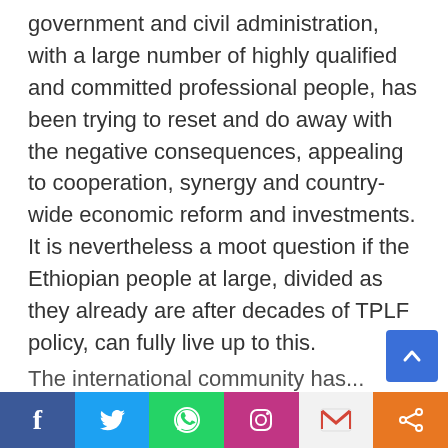government and civil administration, with a large number of highly qualified and committed professional people, has been trying to reset and do away with the negative consequences, appealing to cooperation, synergy and country-wide economic reform and investments. It is nevertheless a moot question if the Ethiopian people at large, divided as they already are after decades of TPLF policy, can fully live up to this.
The international community has...